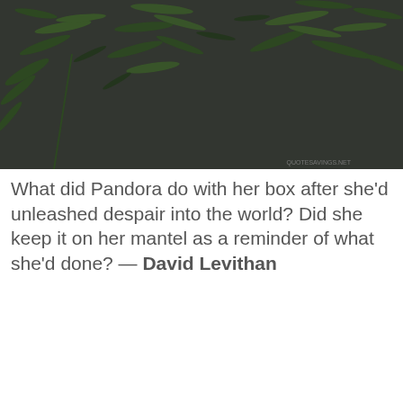[Figure (photo): Dark background photo of green fern/plant foliage with watermark 'QUOTESAVINGS.NET' in lower right corner]
What did Pandora do with her box after she'd unleashed despair into the world? Did she keep it on her mantel as a reminder of what she'd done? — David Levithan